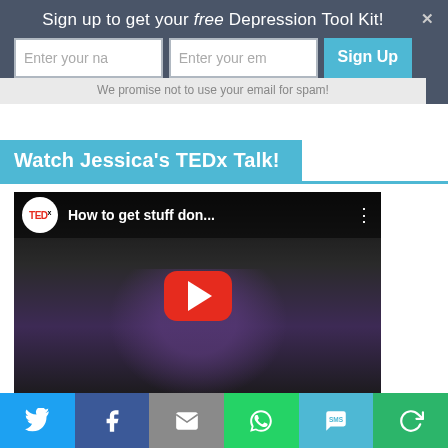Sign up to get your free Depression Tool Kit!
Enter your na   Enter your em   Sign Up
We promise not to use your email for spam!
Watch Jessica's TEDx Talk!
[Figure (screenshot): YouTube video thumbnail for TEDx talk titled 'How to get stuff don...' showing a woman on stage with a YouTube play button overlay]
[Figure (infographic): Social sharing bar with Twitter, Facebook, Email, WhatsApp, SMS, and a share icon buttons]